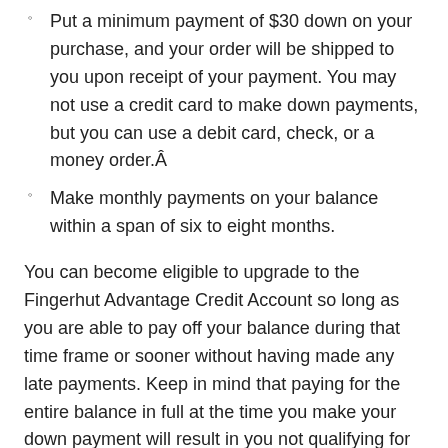Put a minimum payment of $30 down on your purchase, and your order will be shipped to you upon receipt of your payment. You may not use a credit card to make down payments, but you can use a debit card, check, or a money order.Â
Make monthly payments on your balance within a span of six to eight months.
You can become eligible to upgrade to the Fingerhut Advantage Credit Account so long as you are able to pay off your balance during that time frame or sooner without having made any late payments. Keep in mind that paying for the entire balance in full at the time you make your down payment will result in you not qualifying for the loan as well as being ineligible for upgrade.Â
How a Fingerhut credit account